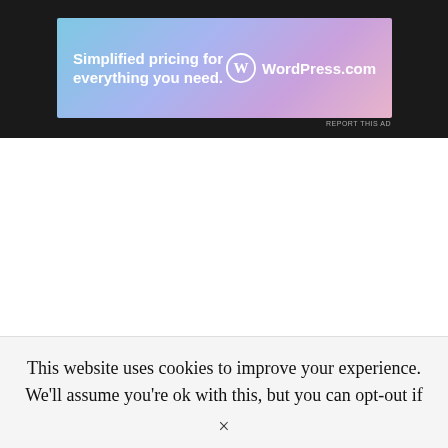[Figure (illustration): WordPress.com advertisement banner with gradient background (blue to purple to pink). Text reads 'Simplified pricing for everything you need.' with WordPress.com logo on the right.]
REPORT THIS AD
This website uses cookies to improve your experience. We'll assume you're ok with this, but you can opt-out if